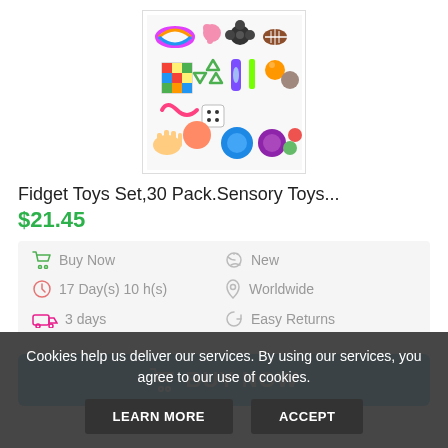[Figure (photo): Product photo showing a collection of 30 fidget/sensory toys including a Rubik's cube, fidget spinner, stress balls, and various other small toys arranged together]
Fidget Toys Set,30 Pack.Sensory Toys...
$21.45
Buy Now  New  17 Day(s) 10 h(s)  Worldwide  3 days  Easy Returns
BUY NOW
Cookies help us deliver our services. By using our services, you agree to our use of cookies.
LEARN MORE
ACCEPT